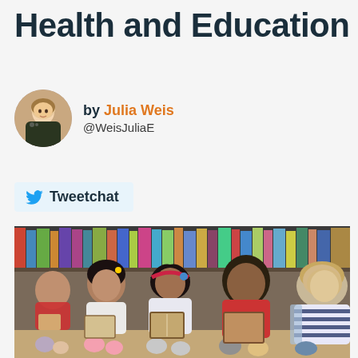Health and Education
by Julia Weis
@WeisJuliaE
Tweetchat
[Figure (photo): Children sitting together on the floor in a library, reading books. Multiple kids of diverse backgrounds are visible, with bookshelves in the background.]